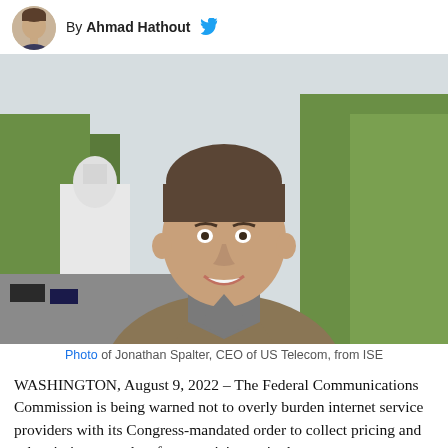By Ahmad Hathout
[Figure (photo): Portrait photo of Jonathan Spalter, CEO of US Telecom, smiling outdoors with the US Capitol dome visible in the background and green trees around him. He wears a grey turtleneck and a tan plaid blazer.]
Photo of Jonathan Spalter, CEO of US Telecom, from ISE
WASHINGTON, August 9, 2022 – The Federal Communications Commission is being warned not to overly burden internet service providers with its Congress-mandated order to collect pricing and subscription rates data from participants in the